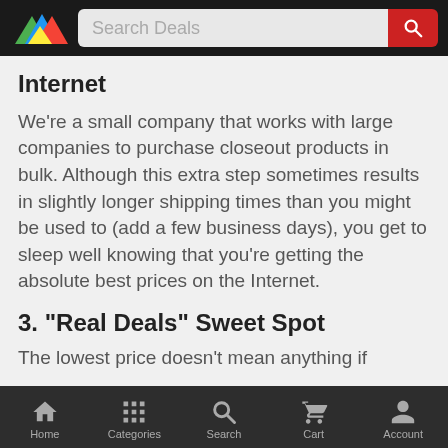[Figure (screenshot): App top navigation bar with colorful triangle logo and Search Deals search input with red search button]
Internet
We're a small company that works with large companies to purchase closeout products in bulk. Although this extra step sometimes results in slightly longer shipping times than you might be used to (add a few business days), you get to sleep well knowing that you're getting the absolute best prices on the Internet.
3. "Real Deals" Sweet Spot
The lowest price doesn't mean anything if
[Figure (screenshot): Bottom navigation bar with Home, Categories, Search, Cart, and Account icons]